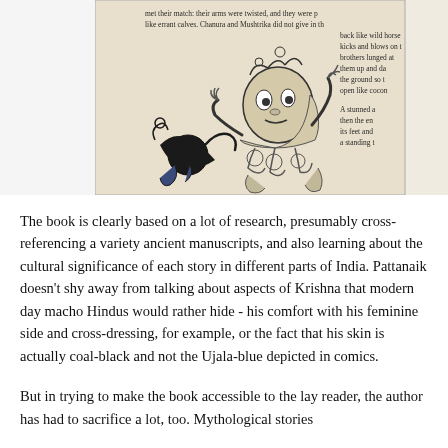[Figure (photo): A photograph of a book page showing an illustrated line drawing of a fight scene with stylized figures (appears to be Krishna wrestling), alongside visible printed text from the book including partial sentences about Chanura and Mushtrika, arms being twisted, and other narrative descriptions.]
The book is clearly based on a lot of research, presumably cross-referencing a variety ancient manuscripts, and also learning about the cultural significance of each story in different parts of India. Pattanaik doesn't shy away from talking about aspects of Krishna that modern day macho Hindus would rather hide - his comfort with his feminine side and cross-dressing, for example, or the fact that his skin is actually coal-black and not the Ujala-blue depicted in comics.
But in trying to make the book accessible to the lay reader, the author has had to sacrifice a lot, too. Mythological stories